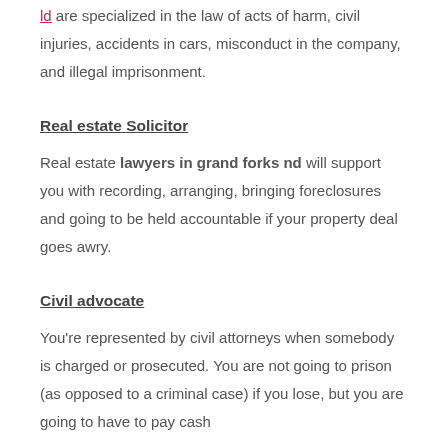ld are specialized in the law of acts of harm, civil injuries, accidents in cars, misconduct in the company, and illegal imprisonment.
Real estate Solicitor
Real estate lawyers in grand forks nd will support you with recording, arranging, bringing foreclosures and going to be held accountable if your property deal goes awry.
Civil advocate
You're represented by civil attorneys when somebody is charged or prosecuted. You are not going to prison (as opposed to a criminal case) if you lose, but you are going to have to pay cash